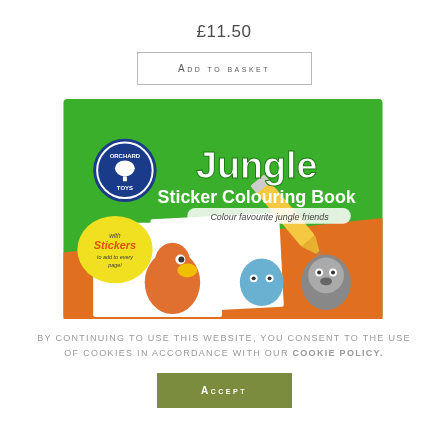£11.50
Add to basket
[Figure (photo): Jungle Sticker Colouring Book product image by Orchard Toys, with green cover, jungle animals (parrot, gorilla), yellow pencil, stickers badge]
By continuing to use this website, you consent to the use of cookies in accordance with our Cookie Policy.
Accept